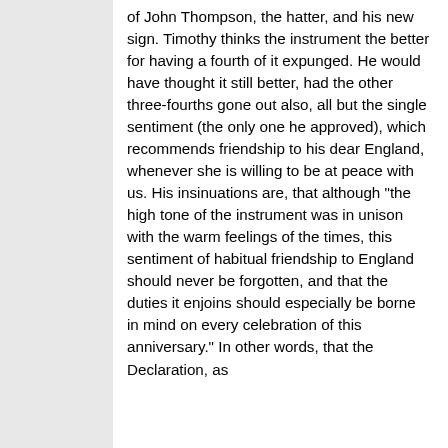of John Thompson, the hatter, and his new sign. Timothy thinks the instrument the better for having a fourth of it expunged. He would have thought it still better, had the other three-fourths gone out also, all but the single sentiment (the only one he approved), which recommends friendship to his dear England, whenever she is willing to be at peace with us. His insinuations are, that although "the high tone of the instrument was in unison with the warm feelings of the times, this sentiment of habitual friendship to England should never be forgotten, and that the duties it enjoins should especially be borne in mind on every celebration of this anniversary." In other words, that the Declaration, as